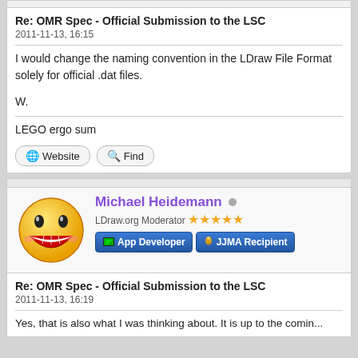Re: OMR Spec - Official Submission to the LSC
2011-11-13, 16:15
I would change the naming convention in the LDraw File Format solely for official .dat files.
W.
LEGO ergo sum
Website   Find
Michael Heidemann
LDraw.org Moderator
App Developer   JJMA Recipient
Re: OMR Spec - Official Submission to the LSC
2011-11-13, 16:19
Yes, that is also what I was thinking about. It is up to the coming...